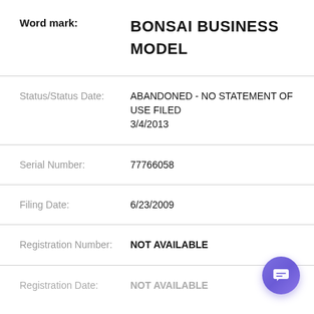Word mark: BONSAI BUSINESS MODEL
Status/Status Date: ABANDONED - NO STATEMENT OF USE FILED 3/4/2013
Serial Number: 77766058
Filing Date: 6/23/2009
Registration Number: NOT AVAILABLE
Registration Date: NOT AVAILABLE